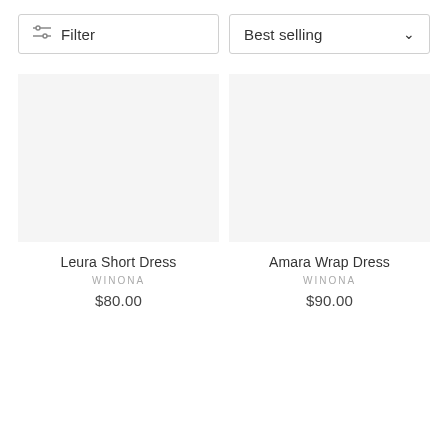Filter
Best selling
Leura Short Dress
WINONA
$80.00
Amara Wrap Dress
WINONA
$90.00